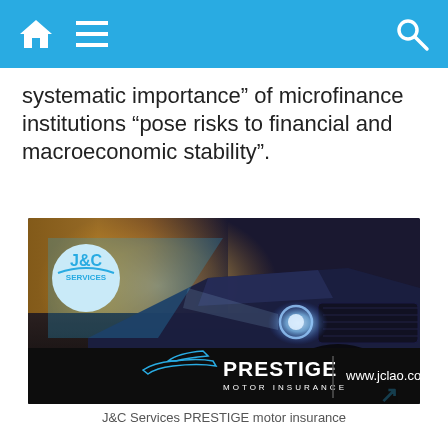Navigation bar with home, menu, and search icons
systematic importance” of microfinance institutions “pose risks to financial and macroeconomic stability”.
[Figure (advertisement): J&C Services PRESTIGE Motor Insurance advertisement featuring a dark blue sports car with headlights on, dramatic sunset background. Bottom left shows J&C Services logo in a white circle, car silhouette outline, PRESTIGE MOTOR INSURANCE text in white, a vertical divider line, and www.jclao.com on the right.]
J&C Services PRESTIGE motor insurance